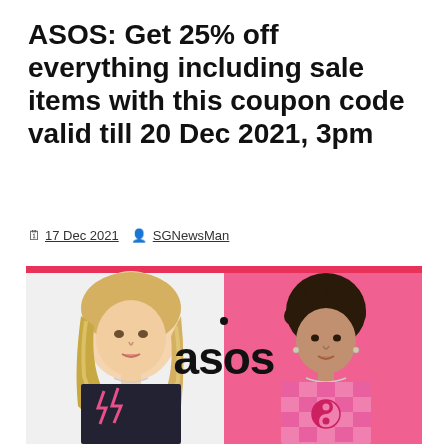ASOS: Get 25% off everything including sale items with this coupon code valid till 20 Dec 2021, 3pm
17 Dec 2021  SGNewsMan
[Figure (photo): ASOS promotional banner split into two halves: left side shows a female model with blonde hair wearing a dark top with pink lightning bolt design against white background; right side shows a male model with curly hair wearing a pink checkered sweater with yin-yang design against pink background. The ASOS logo in black appears in the center spanning both halves. A thin pink/red bar runs across the top of the banner.]